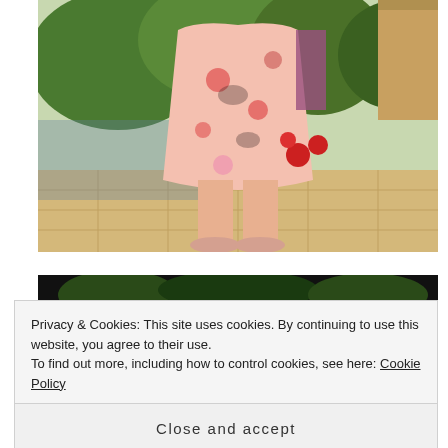[Figure (photo): A person wearing a pink floral dress standing on a tiled patio, surrounded by green garden plants and red flowers. Only the body from neck down is visible. They wear pink shoes.]
[Figure (photo): Partial view of a second photo showing a dark background with some green foliage visible at the top.]
Privacy & Cookies: This site uses cookies. By continuing to use this website, you agree to their use.
To find out more, including how to control cookies, see here: Cookie Policy
Close and accept
[Figure (photo): Partial view of a third photo showing green garden foliage.]